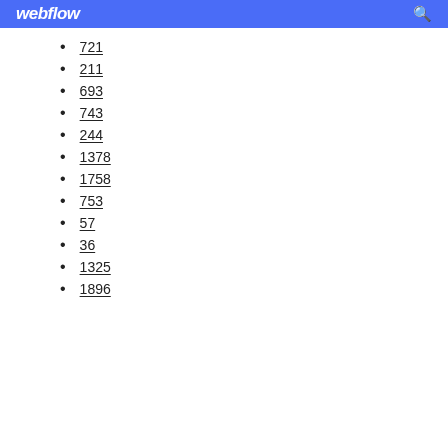webflow
721
211
693
743
244
1378
1758
753
57
36
1325
1896